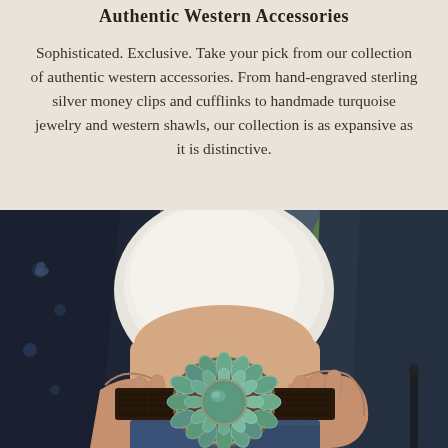Authentic Western Accessories
Sophisticated. Exclusive. Take your pick from our collection of authentic western accessories. From hand-engraved sterling silver money clips and cufflinks to handmade turquoise jewelry and western shawls, our collection is as expansive as it is distinctive.
[Figure (photo): Close-up photo of a person wearing a dark woven leather belt with a large turquoise stone cluster belt buckle, dressed in a dark floral patterned jacket and jeans, holding the belt buckle with both hands]